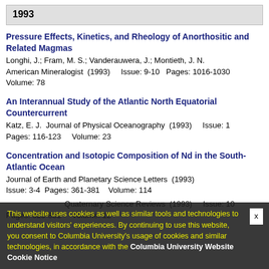1993
Pressure Effects, Kinetics, and Rheology of Anorthositic and Related Magmas
Longhi, J.; Fram, M. S.; Vanderauwera, J.; Montieth, J. N.
American Mineralogist  (1993)    Issue: 9-10  Pages: 1016-1030
Volume: 78
An Interannual Study of the Atlantic North Equatorial Countercurrent
Katz, E. J.  Journal of Physical Oceanography  (1993)    Issue: 1
Pages: 116-123    Volume: 23
Concentration and Isotopic Composition of Nd in the South-Atlantic Ocean
Journal of Earth and Planetary Science Letters  (1993)
Issue: 3-4  Pages: 361-381   Volume: 114
... Quaternary Science Reviews  (1993)    Issue: 10
Pages: 825-831    Volume: 12
This website uses cookies as well as similar tools and technologies to understand visitors' experiences. By continuing to use this website, you consent to Columbia University's usage of cookies and similar technologies, in accordance with the Columbia University Website Cookie Notice